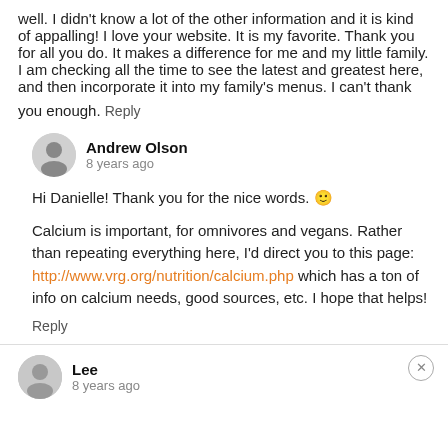well. I didn't know a lot of the other information and it is kind of appalling! I love your website. It is my favorite. Thank you for all you do. It makes a difference for me and my little family. I am checking all the time to see the latest and greatest here, and then incorporate it into my family's menus. I can't thank you enough.
Reply
Andrew Olson
8 years ago
Hi Danielle! Thank you for the nice words. 🙂
Calcium is important, for omnivores and vegans. Rather than repeating everything here, I'd direct you to this page: http://www.vrg.org/nutrition/calcium.php which has a ton of info on calcium needs, good sources, etc. I hope that helps!
Reply
Lee
8 years ago